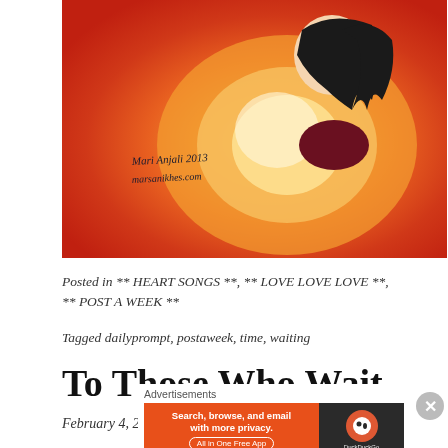[Figure (illustration): Watercolor painting of a person with dark hair surrounded by concentric rings of red, orange, and yellow colors, with a handwritten signature reading 'Mari Anjali 2013 marsanikhes.com']
Posted in ** HEART SONGS **, ** LOVE LOVE LOVE **, ** POST A WEEK **
Tagged dailyprompt, postaweek, time, waiting
To Those Who Wait
February 4, 2013
Advertisements
[Figure (screenshot): DuckDuckGo advertisement banner: 'Search, browse, and email with more privacy. All in One Free App']